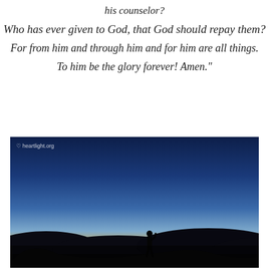his counselor?
Who has ever given to God, that God should repay them?
For from him and through him and for him are all things.
To him be the glory forever! Amen."
[Figure (photo): Silhouette of a person standing on a hilltop against a dramatic sunset sky with gradient from deep blue at top to orange and gold at the horizon, with dark hills in background. Watermark 'heartlight.org' in upper left. Overlay text at bottom reads: For who can know the LORD's thoughts? Who knows enough to give him advice? And who has given him so much that he needs to pay it back? For everything comes from him and exists by his power and is intended for his glory. All glory to him forever! Amen.]